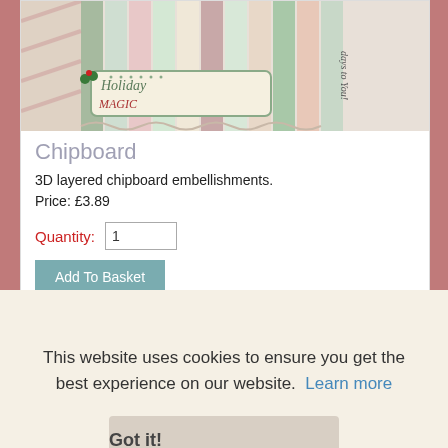[Figure (photo): Holiday chipboard product image showing layered decorative chipboard strips with holiday patterns and a tag reading 'Holiday' on a mixed colorful background]
Chipboard
3D layered chipboard embellishments.
Price: £3.89
Quantity: 1
Add To Basket
This website uses cookies to ensure you get the best experience on our website.  Learn more
Got it!
[Figure (photo): Partial image of a green holiday stamps product at bottom left]
stamps
Stamps